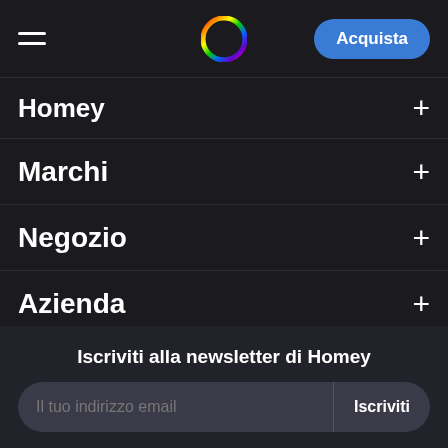Homey navigation header with logo and Acquista button
Homey +
Marchi +
Negozio +
Azienda +
Sviluppatori +
Community +
Impara +
Iscriviti alla newsletter di Homey
Il tuo indirizzo email  Iscriviti